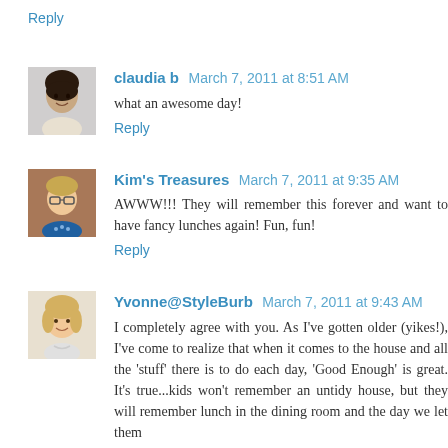Reply
[Figure (photo): Avatar photo of claudia b, a woman with dark hair]
claudia b March 7, 2011 at 8:51 AM
what an awesome day!
Reply
[Figure (photo): Avatar photo of Kim's Treasures, a woman with glasses]
Kim's Treasures March 7, 2011 at 9:35 AM
AWWW!!! They will remember this forever and want to have fancy lunches again! Fun, fun!
Reply
[Figure (photo): Avatar photo of Yvonne@StyleBurb, a woman with blonde hair]
Yvonne@StyleBurb March 7, 2011 at 9:43 AM
I completely agree with you. As I've gotten older (yikes!), I've come to realize that when it comes to the house and all the 'stuff' there is to do each day, 'Good Enough' is great. It's true...kids won't remember an untidy house, but they will remember lunch in the dining room and the day we let them